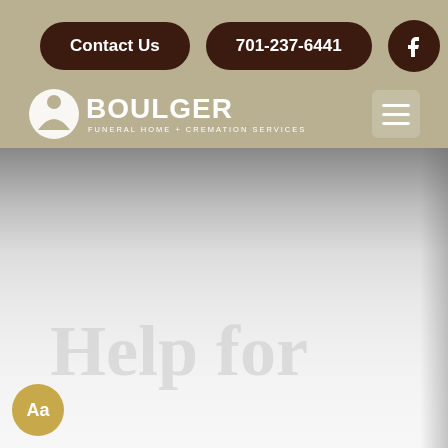Boulger Funeral Home + Cremation Services website header
Contact Us
701-237-6441
[Figure (logo): Boulger Funeral Home + Cremation Services logo with white circular emblem and text]
Help for